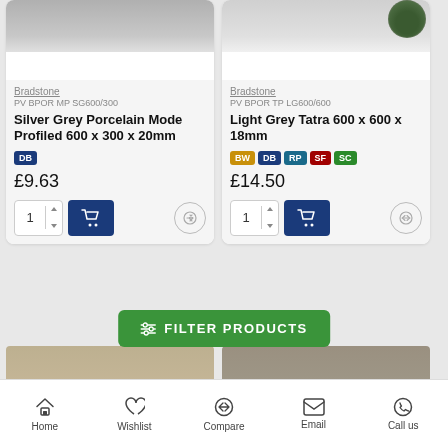[Figure (photo): Product image for Silver Grey Porcelain Mode Profiled tile - grey textured surface]
Bradstone
PV BPOR MP SG600/300
Silver Grey Porcelain Mode Profiled 600 x 300 x 20mm
DB
£9.63
[Figure (photo): Product image for Light Grey Tatra tile - light grey surface with plant decoration]
Bradstone
PV BPOR TP LG600/600
Light Grey Tatra 600 x 600 x 18mm
BW DB RP SF SC
£14.50
FILTER PRODUCTS
Home    Wishlist    Compare    Email    Call us